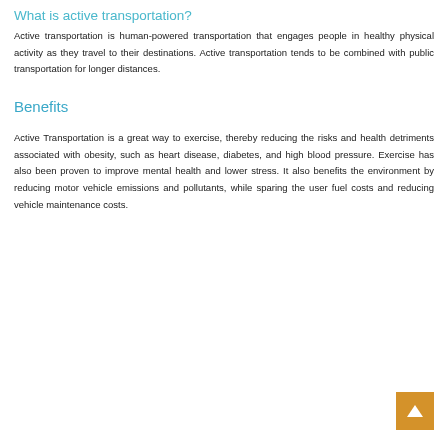What is active transportation?
Active transportation is human-powered transportation that engages people in healthy physical activity as they travel to their destinations. Active transportation tends to be combined with public transportation for longer distances.
Benefits
Active Transportation is a great way to exercise, thereby reducing the risks and health detriments associated with obesity, such as heart disease, diabetes, and high blood pressure. Exercise has also been proven to improve mental health and lower stress. It also benefits the environment by reducing motor vehicle emissions and pollutants, while sparing the user fuel costs and reducing vehicle maintenance costs.